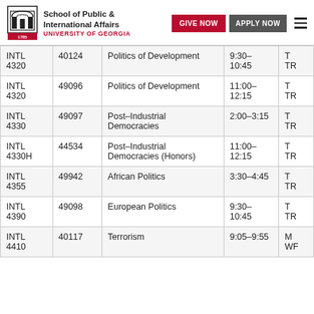School of Public & International Affairs — UNIVERSITY OF GEORGIA
| Course | CRN | Title | Time | Days |
| --- | --- | --- | --- | --- |
| INTL 4320 | 40124 | Politics of Development | 9:30–10:45 | T TR |
| INTL 4320 | 49096 | Politics of Development | 11:00–12:15 | T TR |
| INTL 4330 | 49097 | Post–Industrial Democracies | 2:00–3:15 | T TR |
| INTL 4330H | 44534 | Post–Industrial Democracies (Honors) | 11:00–12:15 | T TR |
| INTL 4355 | 49942 | African Politics | 3:30–4:45 | T TR |
| INTL 4390 | 49098 | European Politics | 9:30–10:45 | T TR |
| INTL 4410 | 40117 | Terrorism | 9:05–9:55 | M WF |